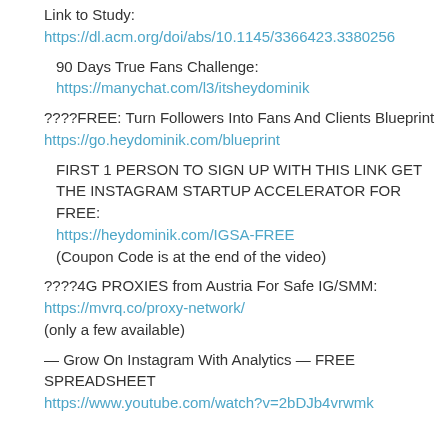Link to Study:
https://dl.acm.org/doi/abs/10.1145/3366423.3380256
90 Days True Fans Challenge:
https://manychat.com/l3/itsheydominik
????FREE: Turn Followers Into Fans And Clients Blueprint https://go.heydominik.com/blueprint
FIRST 1 PERSON TO SIGN UP WITH THIS LINK GET THE INSTAGRAM STARTUP ACCELERATOR FOR FREE:
https://heydominik.com/IGSA-FREE
(Coupon Code is at the end of the video)
????4G PROXIES from Austria For Safe IG/SMM:
https://mvrq.co/proxy-network/
(only a few available)
— Grow On Instagram With Analytics — FREE SPREADSHEET
https://www.youtube.com/watch?v=2bDJb4vrwmk